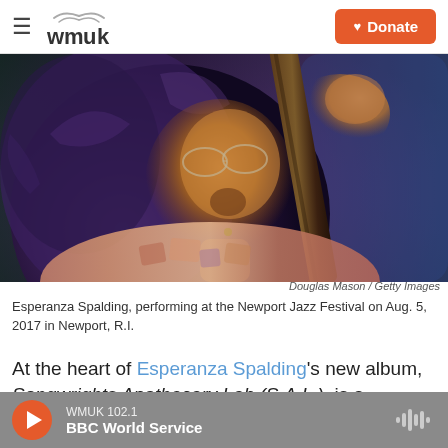WMUK — Donate
[Figure (photo): Esperanza Spalding performing at the Newport Jazz Festival, holding a bass instrument, with voluminous purple-tinted hair and glasses, wearing a colorful patterned outfit.]
Douglas Mason / Getty Images
Esperanza Spalding, performing at the Newport Jazz Festival on Aug. 5, 2017 in Newport, R.I.
At the heart of Esperanza Spalding's new album, Songwrights Apothecary Lab (S.A.L.), is a question:
WMUK 102.1  BBC World Service